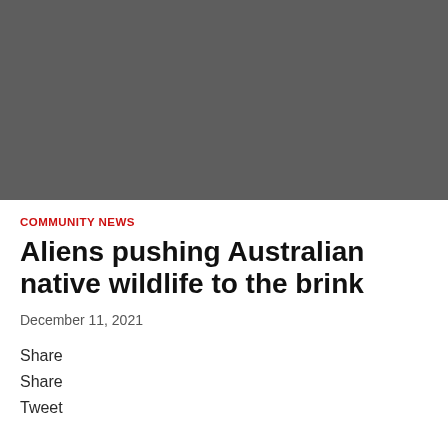[Figure (photo): Dark gray placeholder image occupying the top portion of the page]
COMMUNITY NEWS
Aliens pushing Australian native wildlife to the brink
December 11, 2021
Share
Share
Tweet